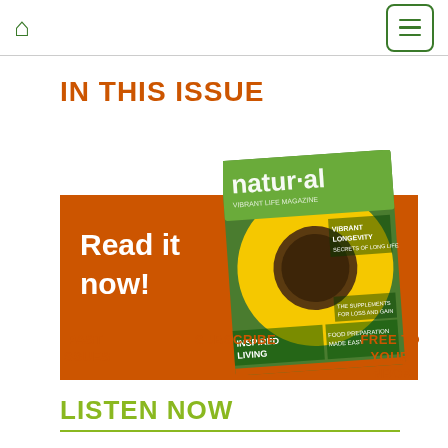Home | Menu
IN THIS ISSUE
[Figure (illustration): Orange banner with 'Read it now!' text overlaid with a magazine cover showing a sunflower and text: natural, VIBRANT LONGEVITY, INSPIRED LIVING, FOOD PREPARATION MADE EASY]
PAST ISSUES
SUBSCRIBE
FREE TO YOUR INBOX
LISTEN NOW